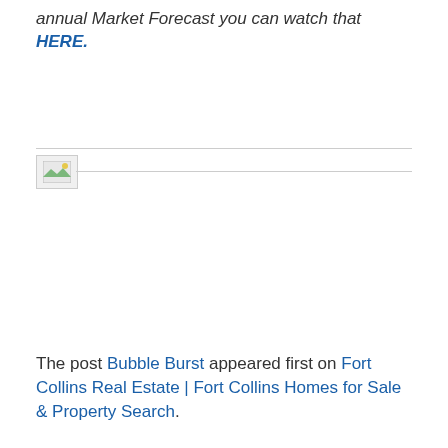annual Market Forecast you can watch that HERE.
[Figure (other): Broken image placeholder with small landscape icon thumbnail]
The post Bubble Burst appeared first on Fort Collins Real Estate | Fort Collins Homes for Sale & Property Search.